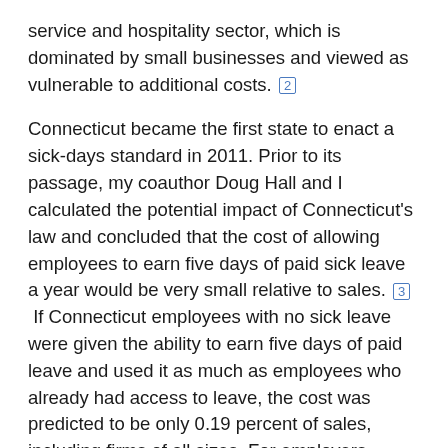service and hospitality sector, which is dominated by small businesses and viewed as vulnerable to additional costs. [2]
Connecticut became the first state to enact a sick-days standard in 2011. Prior to its passage, my coauthor Doug Hall and I calculated the potential impact of Connecticut's law and concluded that the cost of allowing employees to earn five days of paid sick leave a year would be very small relative to sales. [3] If Connecticut employees with no sick leave were given the ability to earn five days of paid leave and used it as much as employees who already had access to leave, the cost was predicted to be only 0.19 percent of sales, including firms of all sizes. For employers already providing five or more days of leave, there would be no cost at all. Further, while any additional costs may be easily absorbed through small changes in other forms of compensation, hours, prices, or profits, earned sick time may actually save employers money through reduced turnover and higher productivity. A year-and-a-half after